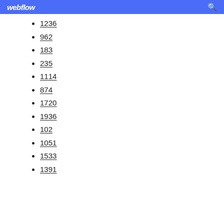webflow
1236
962
183
235
1114
874
1720
1936
102
1051
1533
1391